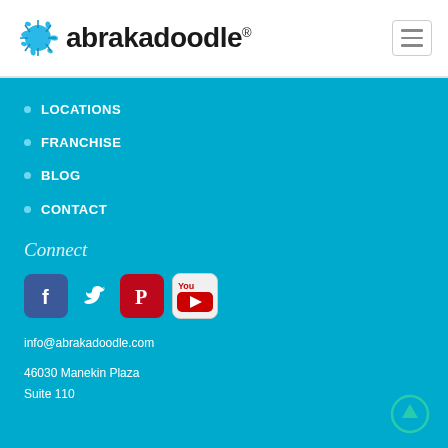[Figure (logo): Abrakadoodle logo with blue splat graphic and company name text with registered trademark symbol]
LOCATIONS
FRANCHISE
BLOG
CONTACT
Connect
[Figure (infographic): Social media icons: Facebook, Twitter, Pinterest, YouTube]
info@abrakadoodle.com
46030 Manekin Plaza
Suite 110